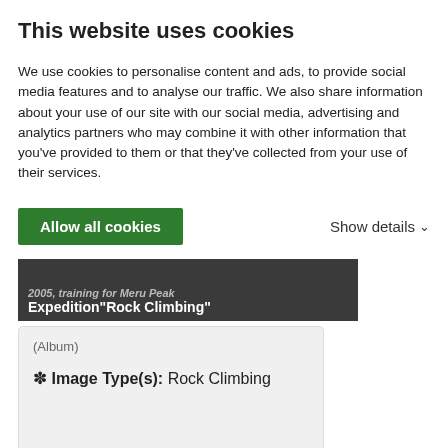This website uses cookies
We use cookies to personalise content and ads, to provide social media features and to analyse our traffic. We also share information about your use of our site with our social media, advertising and analytics partners who may combine it with other information that you've provided to them or that they've collected from your use of their services.
Allow all cookies
Show details ▾
[Figure (photo): Dark image banner showing text '2005, training for Meru Peak Expedition"Rock Climbing"']
(Album)
✽ Image Type(s): Rock Climbing
Kane  Score: 95.82%  Views: 22797